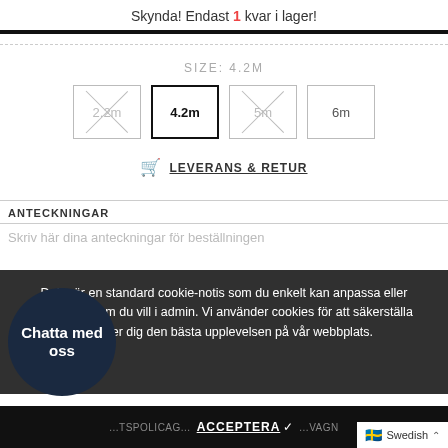Skynda! Endast 1 kvar i lager!
SIZE: 4.2M
[Figure (other): Size selector buttons: 2.2m (crossed out), 4.2m (selected/active), 5m (crossed out), 6m (available)]
LEVERANS & RETUR
ANTECKNINGAR
Detta är en standard cookie-notis som du enkelt kan anpassa eller inaktivera som du vill i admin. Vi använder cookies för att säkerställa att vi ger dig den bästa upplevelsen på vår webbplats.
Chatta med oss
ACCEPTERA ✓